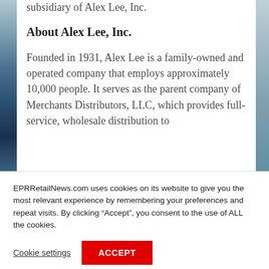subsidiary of Alex Lee, Inc.
About Alex Lee, Inc.
Founded in 1931, Alex Lee is a family-owned and operated company that employs approximately 10,000 people. It serves as the parent company of Merchants Distributors, LLC, which provides full-service, wholesale distribution to
EPRRetailNews.com uses cookies on its website to give you the most relevant experience by remembering your preferences and repeat visits. By clicking “Accept”, you consent to the use of ALL the cookies.
Cookie settings
ACCEPT